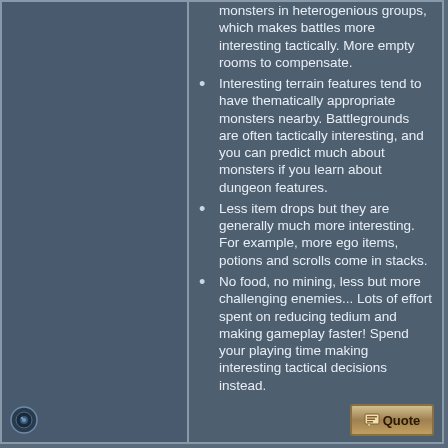monsters in heterogenious groups, which makes battles more interesting tactically. More empty rooms to compensate.
Interesting terrain features tend to have thematically appropriate monsters nearby. Battlegrounds are often tactically interesting, and you can predict much about monsters if you learn about dungeon features.
Less item drops but they are generally much more interesting. For example, more ego items, potions and scrolls come in stacks.
No food, no mining, less but more challenging enemies... Lots of effort spent on reducing tedium and making gameplay faster! Spend your playing time making interesting tactical decisions instead.